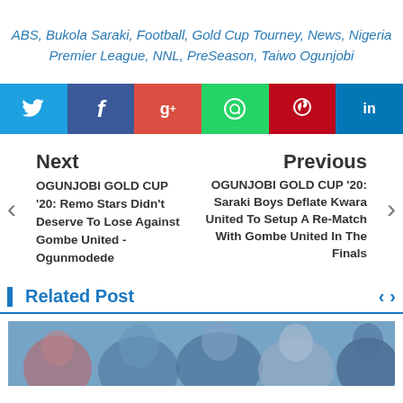ABS, Bukola Saraki, Football, Gold Cup Tourney, News, Nigeria Premier League, NNL, PreSeason, Taiwo Ogunjobi
[Figure (infographic): Social share buttons row: Twitter (light blue), Facebook (dark blue), Google+ (red), WhatsApp (green), Pinterest (dark red), LinkedIn (blue)]
Next
OGUNJOBI GOLD CUP '20: Remo Stars Didn't Deserve To Lose Against Gombe United - Ogunmodede
Previous
OGUNJOBI GOLD CUP '20: Saraki Boys Deflate Kwara United To Setup A Re-Match With Gombe United In The Finals
Related Post
[Figure (photo): Blurred crowd/people photo in blue tones, partially visible at bottom of page]